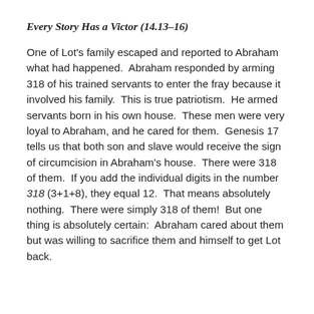Every Story Has a Victor (14.13–16)
One of Lot's family escaped and reported to Abraham what had happened.  Abraham responded by arming 318 of his trained servants to enter the fray because it involved his family.  This is true patriotism.  He armed servants born in his own house.  These men were very loyal to Abraham, and he cared for them.  Genesis 17 tells us that both son and slave would receive the sign of circumcision in Abraham's house.  There were 318 of them.  If you add the individual digits in the number 318 (3+1+8), they equal 12.  That means absolutely nothing.  There were simply 318 of them!  But one thing is absolutely certain:  Abraham cared about them but was willing to sacrifice them and himself to get Lot back.